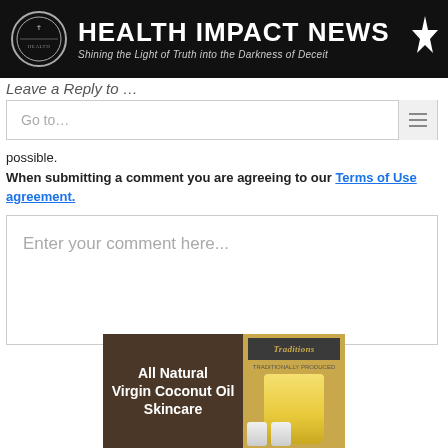HEALTH IMPACT NEWS — Shining the Light of Truth into the Darkness of Deceit
Leave a Reply to …
Go to…
possible.
When submitting a comment you are agreeing to our Terms of Use agreement.
Enter your comment here...
[Figure (photo): Advertisement for All Natural Virgin Coconut Oil Skincare with product imagery and Healthy Traditions brand logo]